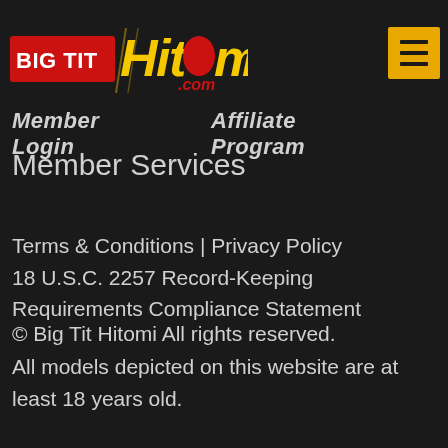[Figure (logo): Big Tit Hitomi.com logo — red banner with 'BIG TIT' text and stylized 'Hitomi.com' lettering with yellow/red colors]
Member Login    Affiliate Program
Member Services
Terms & Conditions | Privacy Policy
18 U.S.C. 2257 Record-Keeping Requirements Compliance Statement
© Big Tit Hitomi All rights reserved.
All models depicted on this website are at least 18 years old.